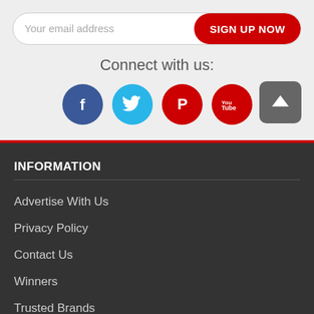Your email address
SIGN UP NOW
Connect with us:
[Figure (infographic): Social media icons: Facebook (dark blue circle), Twitter (light blue circle), Pinterest (red circle), YouTube (red circle), and a grey scroll-to-top button]
INFORMATION
Advertise With Us
Privacy Policy
Contact Us
Winners
Trusted Brands
SHOP BY CATEGORIES
Books
Jewellery